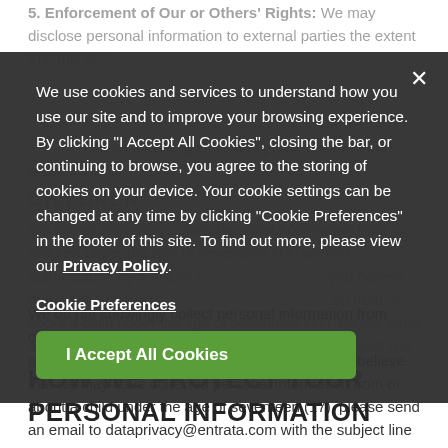5. Enforcement of Our or Others' Rights: We may disclose personal information to external parties the extent that this is necessary to (a) conform to the law or comply with legal process served on us, (b) protect and defend our rights or property, or (c) act in an urgent situation to protect the personal safety of entrata's end users or the general public (such as for billing collection purposes and fraud prevention).
CHILDREN
We do not knowingly collect personal information from children under the age of seventeen (17) without authorization by a holder of parental rights. If you believe that we may have collected personal information from or about a child under the age of seventeen (17), please send an email to dataprivacy@entrata.com with the subject line "Personal Data of a Minor."
We use cookies and services to understand how you use our site and to improve your browsing experience. By clicking "I Accept All Cookies", closing the bar, or continuing to browse, you agree to the storing of cookies on your device. Your cookie settings can be changed at any time by clicking "Cookie Preferences" in the footer of this site. To find out more, please view our Privacy Policy.
Cookie Preferences
I Accept All Cookies
HOW WE PROTECT YOUR PERSONAL INFORMATION